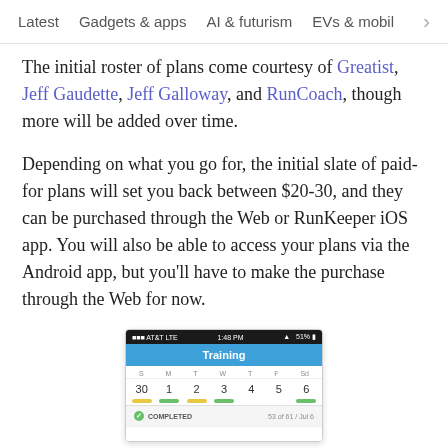Latest   Gadgets & apps   AI & futurism   EVs & mobil  >
The initial roster of plans come courtesy of Greatist, Jeff Gaudette, Jeff Galloway, and RunCoach, though more will be added over time.

Depending on what you go for, the initial slate of paid-for plans will set you back between $20-30, and they can be purchased through the Web or RunKeeper iOS app. You will also be able to access your plans via the Android app, but you'll have to make the purchase through the Web for now.
[Figure (screenshot): iPhone screenshot showing a RunKeeper training calendar app. Status bar shows AT&T LTE, 1:48 PM, 51% battery. Blue header says 'Training'. Calendar week shows S M T W T F Sd with dates 30 1 2 3 4 5 6. Below shows a 'COMPLETED' bar with '53 of 61 / Jul 6'.]